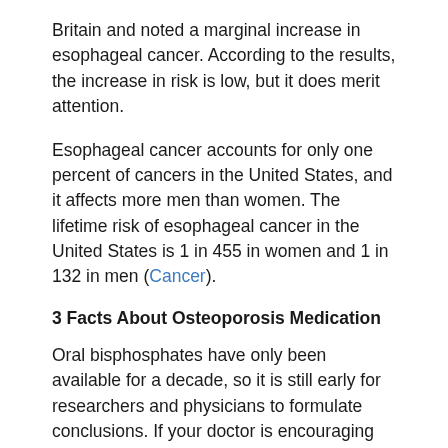Britain and noted a marginal increase in esophageal cancer. According to the results, the increase in risk is low, but it does merit attention.
Esophageal cancer accounts for only one percent of cancers in the United States, and it affects more men than women. The lifetime risk of esophageal cancer in the United States is 1 in 455 in women and 1 in 132 in men (Cancer).
3 Facts About Osteoporosis Medication
Oral bisphosphates have only been available for a decade, so it is still early for researchers and physicians to formulate conclusions. If your doctor is encouraging you to take